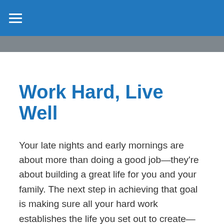Work Hard, Live Well
Your late nights and early mornings are about more than doing a good job—they're about building a great life for you and your family. The next step in achieving that goal is making sure all your hard work establishes the life you set out to create—and at Ina Insurance Group, our mission is to help you do just